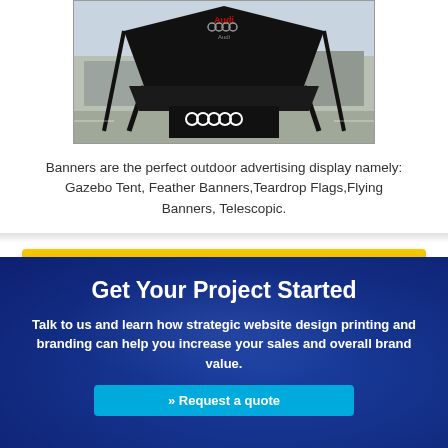[Figure (photo): Black Audi branded gazebo tent with Audi logo and four rings emblem on a table cover, outdoor setting]
Banners are the perfect outdoor advertising display namely: Gazebo Tent, Feather Banners,Teardrop Flags,Flying Banners, Telescopic.
Click here
Get Your Project Started
Talk to us and learn how strategic website design printing and branding can help you increase your sales and overall brand value.
» Request a quote